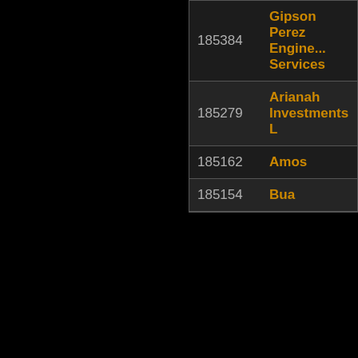| ID | Name |
| --- | --- |
| 185384 | Gipson Perez Engineering Services |
| 185279 | Arianah Investments L |
| 185162 | Amos |
| 185154 | Bua |